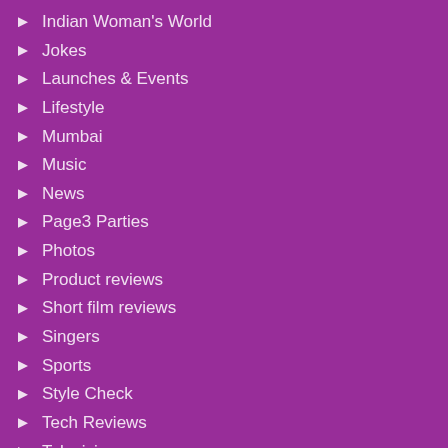Indian Woman's World
Jokes
Launches & Events
Lifestyle
Mumbai
Music
News
Page3 Parties
Photos
Product reviews
Short film reviews
Singers
Sports
Style Check
Tech Reviews
Television
Television News